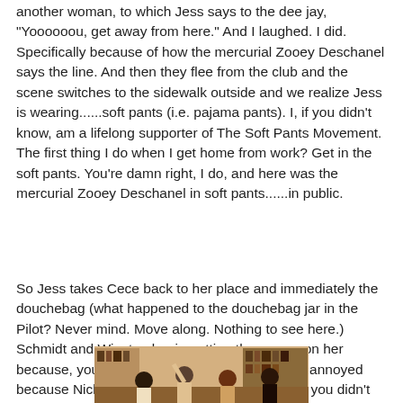another woman, to which Jess says to the dee jay, "Yoooooou, get away from here." And I laughed. I did. Specifically because of how the mercurial Zooey Deschanel says the line. And then they flee from the club and the scene switches to the sidewalk outside and we realize Jess is wearing......soft pants (i.e. pajama pants). I, if you didn't know, am a lifelong supporter of The Soft Pants Movement. The first thing I do when I get home from work? Get in the soft pants. You're damn right, I do, and here was the mercurial Zooey Deschanel in soft pants......in public.
So Jess takes Cece back to her place and immediately the douchebag (what happened to the douchebag jar in the Pilot? Never mind. Move along. Nothing to see here.) Schmidt and Winston begin putting the moves on her because, you know, she's hot, and poor Nick is annoyed because Nick just wanted some alone time. I, if you didn't know, am a lifelong supporter of The Alone Time Movement.
[Figure (photo): A scene from the TV show New Girl showing characters in a living room, partially visible at the bottom of the page.]